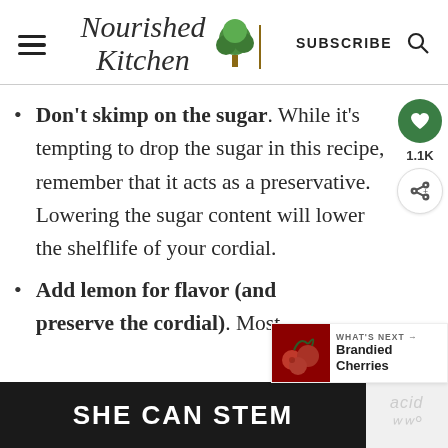Nourished Kitchen — SUBSCRIBE
Don't skimp on the sugar. While it's tempting to drop the sugar in this recipe, remember that it acts as a preservative. Lowering the sugar content will lower the shelflife of your cordial.
Add lemon for flavor (and preserve the cordial). Most
[Figure (other): What's Next callout showing Brandied Cherries with cherry image]
[Figure (other): Ad banner: SHE CAN STEM on dark background]